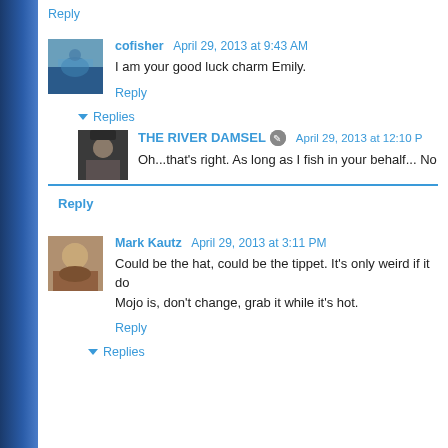Reply
cofisher April 29, 2013 at 9:43 AM
I am your good luck charm Emily.
Reply
Replies
THE RIVER DAMSEL April 29, 2013 at 12:10 PM
Oh...that's right. As long as I fish in your behalf... No
Reply
Mark Kautz April 29, 2013 at 3:11 PM
Could be the hat, could be the tippet. It's only weird if it do
Mojo is, don't change, grab it while it's hot.
Reply
Replies